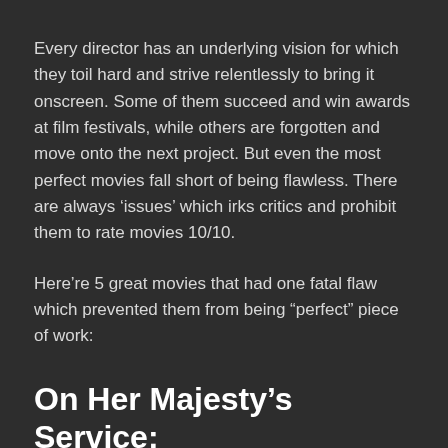Every director has an underlying vision for which they toil hard and strive relentlessly to bring it onscreen. Some of them succeed and win awards at film festivals, while others are forgotten and move onto the next project. But even the most perfect movies fall short of being flawless. There are always ‘issues’ which irks critics and prohibit them to rate movies 10/10.
Here’re 5 great movies that had one fatal flaw which prevented them from being “perfect” piece of work:
On Her Majesty’s Service: